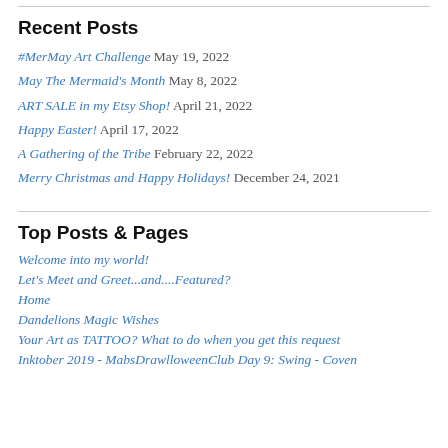Recent Posts
#MerMay Art Challenge May 19, 2022
May The Mermaid's Month May 8, 2022
ART SALE in my Etsy Shop! April 21, 2022
Happy Easter! April 17, 2022
A Gathering of the Tribe February 22, 2022
Merry Christmas and Happy Holidays! December 24, 2021
Top Posts & Pages
Welcome into my world!
Let's Meet and Greet...and....Featured?
Home
Dandelions Magic Wishes
Your Art as TATTOO? What to do when you get this request
Inktober 2019 - MabsDrawlloweenClub Day 9: Swing - Coven